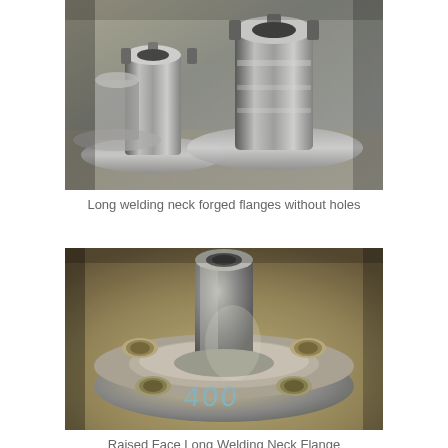[Figure (photo): Photo of multiple long welding neck forged flanges without holes, showing polished metallic cylindrical necks and flat circular flanges, arranged in a group on a surface.]
Long welding neck forged flanges without holes
[Figure (photo): Photo of a single raised face long welding neck flange with bolt holes, marked with the number 400 in chalk/paint on the face. The flange is made of polished steel with visible bolt holes around the perimeter.]
Raised Face Long Welding Neck Flange